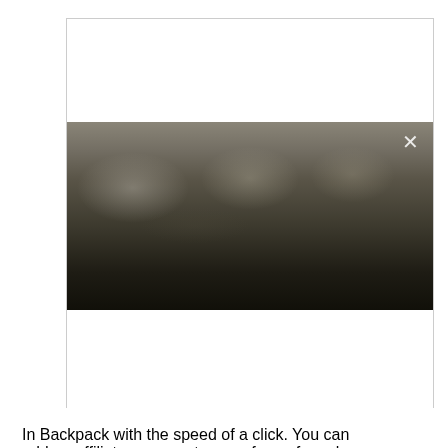[Figure (screenshot): A modal/popup dialog box with a white top section, a blurred dark outdoor photograph in the middle with an X close button in the upper right corner, and a white bottom section. The image appears to show a blurry outdoor scene with trees or structures.]
In Backpack with the speed of a click. You can add an affiliate program to any of your funnels